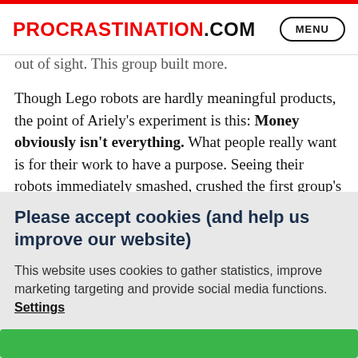PROCRASTINATION.COM  MENU
out of sight. This group built more.
Though Lego robots are hardly meaningful products, the point of Ariely's experiment is this: Money obviously isn't everything. What people really want is for their work to have a purpose. Seeing their robots immediately smashed, crushed the first group's motivation because their work was not valued.
Transported into the workplace, this suggests one thing. People aren't robots. If employees see the purpose of their
Please accept cookies (and help us improve our website)
This website uses cookies to gather statistics, improve marketing targeting and provide social media functions. Settings